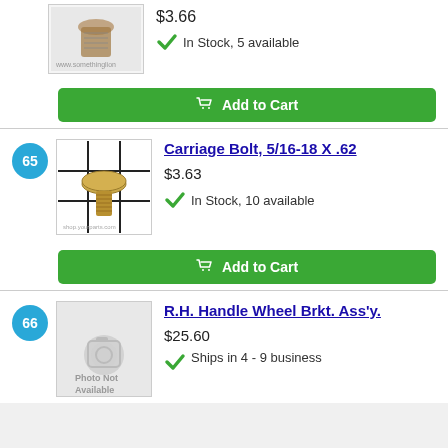[Figure (photo): Bolt/screw hardware item photo (partially visible at top)]
$3.66
In Stock, 5 available
Add to Cart
65
[Figure (photo): Carriage Bolt 5/16-18 X .62 product photo]
Carriage Bolt, 5/16-18 X .62
$3.63
In Stock, 10 available
Add to Cart
66
[Figure (photo): Photo Not Available placeholder image]
R.H. Handle Wheel Brkt. Ass'y.
$25.60
Ships in 4 - 9 business